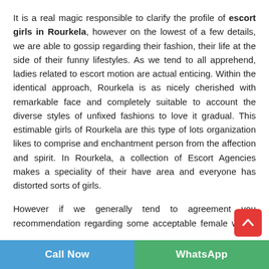It is a real magic responsible to clarify the profile of escort girls in Rourkela, however on the lowest of a few details, we are able to gossip regarding their fashion, their life at the side of their funny lifestyles. As we tend to all apprehend, ladies related to escort motion are actual enticing. Within the identical approach, Rourkela is as nicely cherished with remarkable face and completely suitable to account the diverse styles of unfixed fashions to love it gradual. This estimable girls of Rourkela are this type of lots organization likes to comprise and enchantment person from the affection and spirit. In Rourkela, a collection of Escort Agencies makes a speciality of their have area and everyone has distorted sorts of girls.
However if we generally tend to agreement you recommendation regarding some acceptable female whom you all be capable of worry Elite Rourkela Escorts, are absolutely on pinnacle of your mind. These suitable female are so a very good imaginative, and prescient for whom action m...
Call Now | WhatsApp